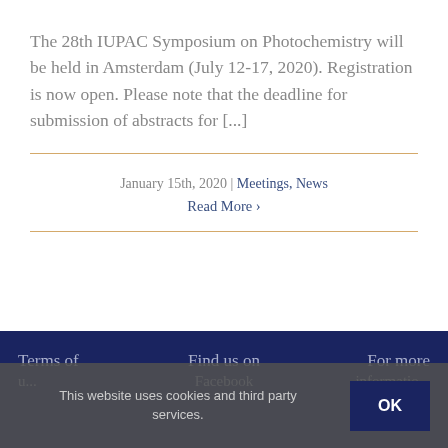The 28th IUPAC Symposium on Photochemistry will be held in Amsterdam (July 12-17, 2020). Registration is now open. Please note that the deadline for submission of abstracts for [...]
January 15th, 2020 | Meetings, News
Read More ›
Terms of [use] | Find us on Facebook | For more information
This website uses cookies and third party services.